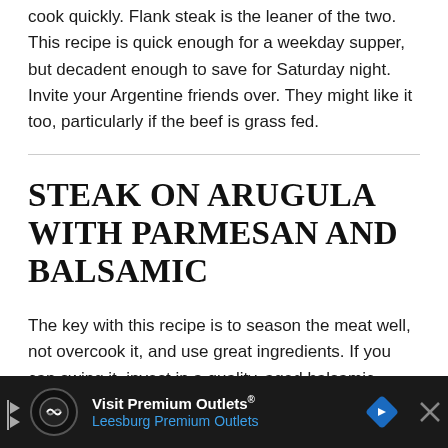cook quickly. Flank steak is the leaner of the two. This recipe is quick enough for a weekday supper, but decadent enough to save for Saturday night. Invite your Argentine friends over. They might like it too, particularly if the beef is grass fed.
STEAK ON ARUGULA WITH PARMESAN AND BALSAMIC
The key with this recipe is to season the meat well, not overcook it, and use great ingredients. If you can swing it, invest in a quality, aged balsamic vinegar. It's delicious on these greens. Not so sure about the arugula? You might be surprised to find your kids like it, but if that's too much of a stretch, feel free to substitute baby spinach. If you ... those into ...
[Figure (other): Advertisement banner for Visit Premium Outlets / Leesburg Premium Outlets with logo icons and navigation arrows]